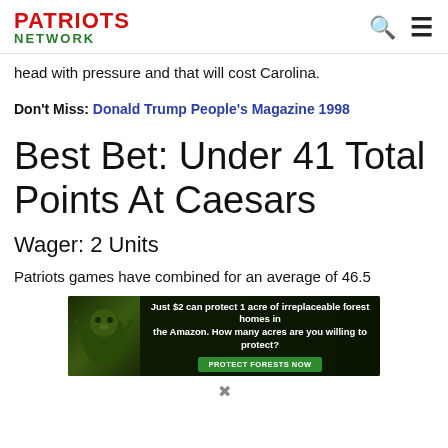PATRIOTS NETWORK
head with pressure and that will cost Carolina.
Don't Miss: Donald Trump People's Magazine 1998
Best Bet: Under 41 Total Points At Caesars
Wager: 2 Units
Patriots games have combined for an average of 46.5
[Figure (other): Advertisement banner: Just $2 can protect 1 acre of irreplaceable forest homes in the Amazon. How many acres are you willing to protect? PROTECT FORESTS NOW]